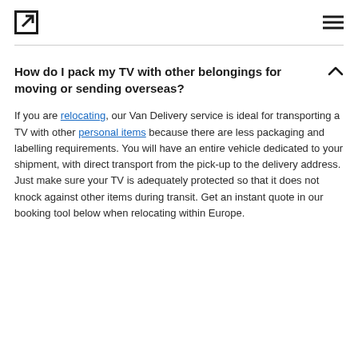[Logo icon] [Hamburger menu]
How do I pack my TV with other belongings for moving or sending overseas?
If you are relocating, our Van Delivery service is ideal for transporting a TV with other personal items because there are less packaging and labelling requirements. You will have an entire vehicle dedicated to your shipment, with direct transport from the pick-up to the delivery address. Just make sure your TV is adequately protected so that it does not knock against other items during transit. Get an instant quote in our booking tool below when relocating within Europe.